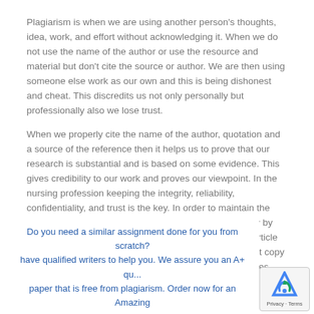Plagiarism is when we are using another person's thoughts, idea, work, and effort without acknowledging it. When we do not use the name of the author or use the resource and material but don't cite the source or author. We are then using someone else work as our own and this is being dishonest and cheat. This discredits us not only personally but professionally also we lose trust.
When we properly cite the name of the author, quotation and a source of the reference then it helps us to prove that our research is substantial and is based on some evidence. This gives credibility to our work and proves our viewpoint. In the nursing profession keeping the integrity, reliability, confidentiality, and trust is the key. In order to maintain the academic integrity, we should use the resource properly by providing the name of the author, publication, book or article and also mentioning it in our references. Also should not copy someone work. I will try to ensure that I use the resources properly and ask for help if I need to.
Do you need a similar assignment done for you from scratch? have qualified writers to help you. We assure you an A+ qu... paper that is free from plagiarism. Order now for an Amazing Disc...